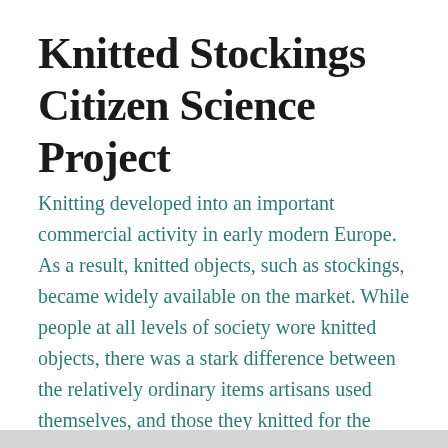Knitted Stockings Citizen Science Project
Knitting developed into an important commercial activity in early modern Europe. As a result, knitted objects, such as stockings, became widely available on the market. While people at all levels of society wore knitted objects, there was a stark difference between the relatively ordinary items artisans used themselves, and those they knitted for the wealthy elites.